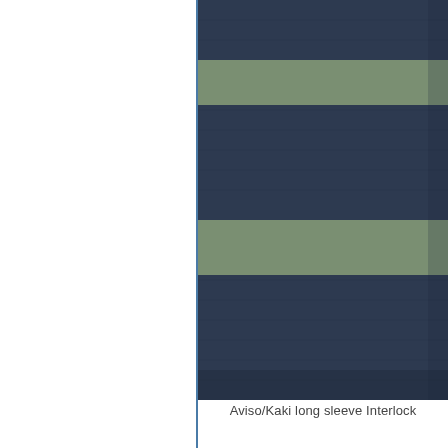[Figure (photo): Close-up of navy and khaki/sage striped interlock fabric swatch]
Aviso/Kaki long sleeve Interlock
[Figure (photo): Close-up of blue and cream/off-white striped interlock fabric swatch]